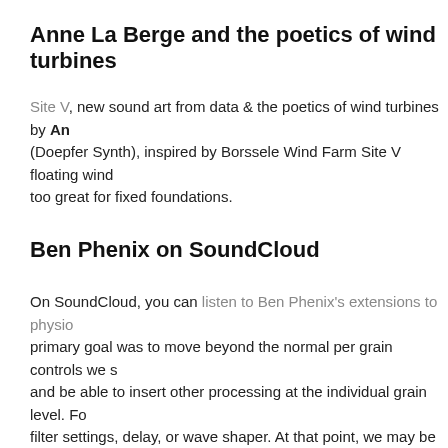Anne La Berge and the poetics of wind turbines
Site V, new sound art from data & the poetics of wind turbines by Anne La Berge (Doepfer Synth), inspired by Borssele Wind Farm Site V floating wind turbines — where the water depth is too great for fixed foundations.
Ben Phenix on SoundCloud
On SoundCloud, you can listen to Ben Phenix's extensions to physical modelling. His primary goal was to move beyond the normal per grain controls we see in granular synths and be able to insert other processing at the individual grain level. For example, individual filter settings, delay, or wave shaper. At that point, we may be departing from granular, but that is where the fun is!"
Looking back to move forward: Gualtieri's BTF P
Composers and performers have been adapting to the constraints of the pandemic, inventing new paradigms for live musical performance. Composer Vi focuses on one of the essential aspects of making music together: attentive and active listening. Vi can now be heard on a new album: the (BTF) project, released on El
Voicemail spam and Furby